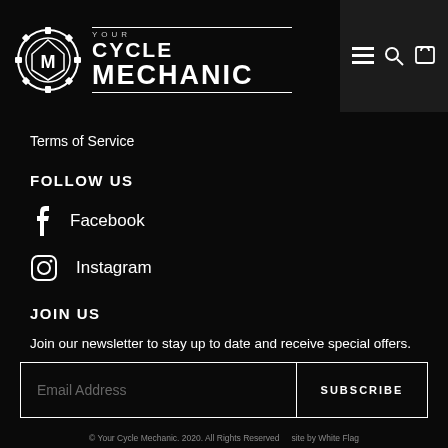[Figure (logo): Your Cycle Mechanic logo with gear/shield emblem and stylized text]
Terms of Service
FOLLOW US
Facebook
Instagram
JOIN US
Join our newsletter to stay up to date and receive special offers.
Email Address  SUBSCRIBE
© Your Cycle Mechanic. 2020. All Rights Reserved   site by White Flag